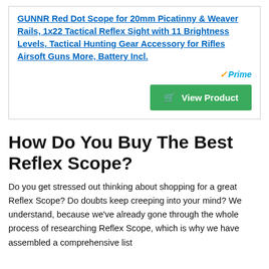GUNNR Red Dot Scope for 20mm Picatinny & Weaver Rails, 1x22 Tactical Reflex Sight with 11 Brightness Levels, Tactical Hunting Gear Accessory for Rifles Airsoft Guns More, Battery Incl.
[Figure (logo): Amazon Prime logo with orange checkmark and blue italic Prime text]
View Product
How Do You Buy The Best Reflex Scope?
Do you get stressed out thinking about shopping for a great Reflex Scope? Do doubts keep creeping into your mind? We understand, because we've already gone through the whole process of researching Reflex Scope, which is why we have assembled a comprehensive list